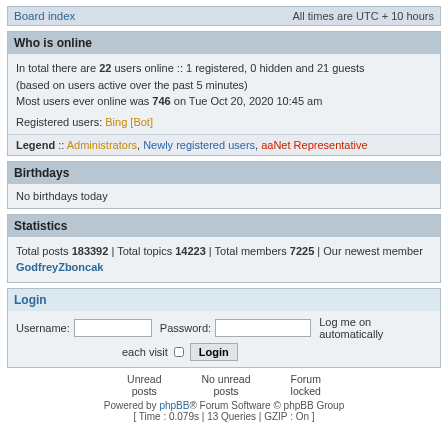Board index   All times are UTC + 10 hours
Who is online
In total there are 22 users online :: 1 registered, 0 hidden and 21 guests (based on users active over the past 5 minutes)
Most users ever online was 746 on Tue Oct 20, 2020 10:45 am

Registered users: Bing [Bot]
Legend :: Administrators, Newly registered users, aaNet Representative
Birthdays
No birthdays today
Statistics
Total posts 183392 | Total topics 14223 | Total members 7225 | Our newest member GodfreyZboncak
Login
Username: [input] Password: [input] Log me on automatically each visit [checkbox] Login
Unread posts   No unread posts   Forum locked
Powered by phpBB® Forum Software © phpBB Group
[ Time : 0.079s | 13 Queries | GZIP : On ]